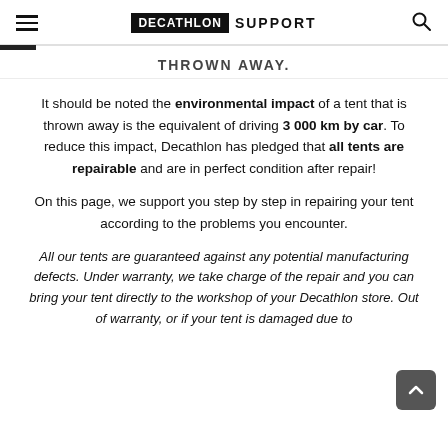DECATHLON SUPPORT
THROWN AWAY.
It should be noted the environmental impact of a tent that is thrown away is the equivalent of driving 3 000 km by car. To reduce this impact, Decathlon has pledged that all tents are repairable and are in perfect condition after repair!
On this page, we support you step by step in repairing your tent according to the problems you encounter.
All our tents are guaranteed against any potential manufacturing defects. Under warranty, we take charge of the repair and you can bring your tent directly to the workshop of your Decathlon store. Out of warranty, or if your tent is damaged due to misuse, it is possible to carry out repair it